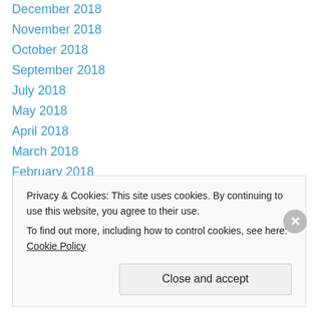December 2018
November 2018
October 2018
September 2018
July 2018
May 2018
April 2018
March 2018
February 2018
January 2018
December 2017
November 2017
October 2017
July 2017
Privacy & Cookies: This site uses cookies. By continuing to use this website, you agree to their use. To find out more, including how to control cookies, see here: Cookie Policy
Close and accept